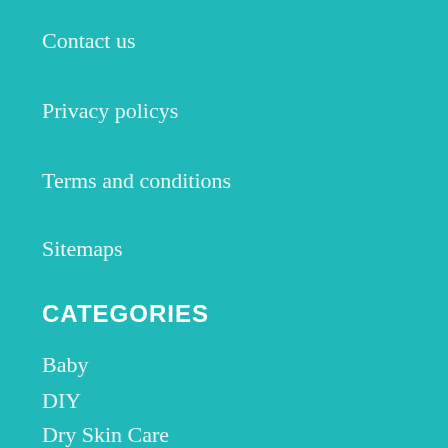Contact us
Privacy policys
Terms and conditions
Sitemaps
CATEGORIES
Baby
DIY
Dry Skin Care
Hair
healthy food